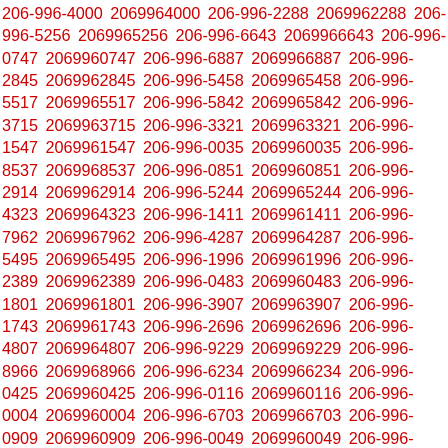206-996-4000 2069964000 206-996-2288 2069962288 206-996-5256 2069965256 206-996-6643 2069966643 206-996-0747 2069960747 206-996-6887 2069966887 206-996-2845 2069962845 206-996-5458 2069965458 206-996-5517 2069965517 206-996-5842 2069965842 206-996-3715 2069963715 206-996-3321 2069963321 206-996-1547 2069961547 206-996-0035 2069960035 206-996-8537 2069968537 206-996-0851 2069960851 206-996-2914 2069962914 206-996-5244 2069965244 206-996-4323 2069964323 206-996-1411 2069961411 206-996-7962 2069967962 206-996-4287 2069964287 206-996-5495 2069965495 206-996-1996 2069961996 206-996-2389 2069962389 206-996-0483 2069960483 206-996-1801 2069961801 206-996-3907 2069963907 206-996-1743 2069961743 206-996-2696 2069962696 206-996-4807 2069964807 206-996-9229 2069969229 206-996-8966 2069968966 206-996-6234 2069966234 206-996-0425 2069960425 206-996-0116 2069960116 206-996-0004 2069960004 206-996-6703 2069966703 206-996-0909 2069960909 206-996-0049 2069960049 206-996-4332 2069964332 206-996-3964 2069963964 206-996-6411 2069966411 206-996-4758 2069964758 206-996-9077 2069969077 206-996-0357 2069960357 206-996-5964 2069965964 206-996-6221 2069966221 206-996-4020 2069964020 206-996-0777 2069960777 206-996-2542 2069962542 206-996-7832 2069967832 206-996-0895 2069960895 206-996-9821 2069969821 206-996-7600 2069967600 206-996-9528 2069969528 206-996-7753 2069967753 206-996-9496 2069969496 206-996-6840 2069966840 206-996-2554 2069962554 206-996-6505 2069966505 206-996-7852 2069967852 206-996-2355